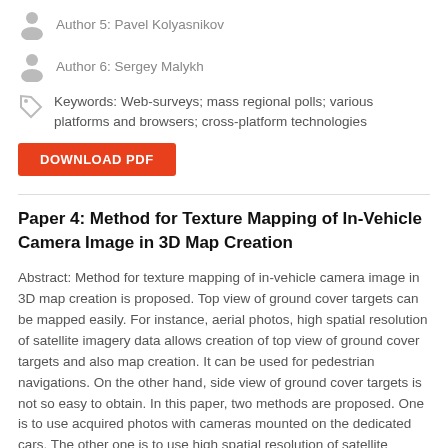Author 5: Pavel Kolyasnikov
Author 6: Sergey Malykh
Keywords: Web-surveys; mass regional polls; various platforms and browsers; cross-platform technologies
DOWNLOAD PDF
Paper 4: Method for Texture Mapping of In-Vehicle Camera Image in 3D Map Creation
Abstract: Method for texture mapping of in-vehicle camera image in 3D map creation is proposed. Top view of ground cover targets can be mapped easily. For instance, aerial photos, high spatial resolution of satellite imagery data allows creation of top view of ground cover targets and also map creation. It can be used for pedestrian navigations. On the other hand, side view of ground cover targets is not so easy to obtain. In this paper, two methods are proposed. One is to use acquired photos with cameras mounted on the dedicated cars. The other one is to use high spatial resolution of satellite imagery data, such as IKONOS,